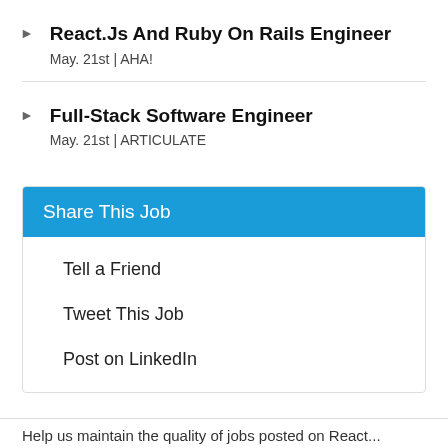React.Js And Ruby On Rails Engineer
May. 21st | AHA!
Full-Stack Software Engineer
May. 21st | ARTICULATE
Share This Job
Tell a Friend
Tweet This Job
Post on LinkedIn
Help us maintain the quality of jobs posted on React...